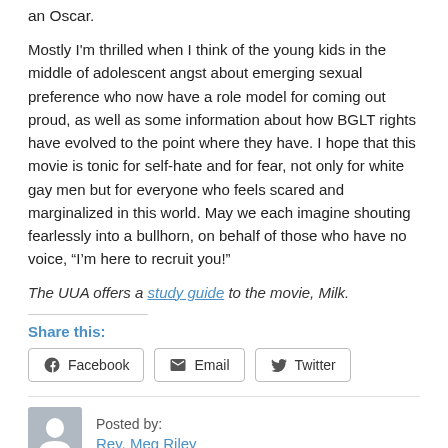an Oscar.
Mostly I'm thrilled when I think of the young kids in the middle of adolescent angst about emerging sexual preference who now have a role model for coming out proud, as well as some information about how BGLT rights have evolved to the point where they have. I hope that this movie is tonic for self-hate and for fear, not only for white gay men but for everyone who feels scared and marginalized in this world. May we each imagine shouting fearlessly into a bullhorn, on behalf of those who have no voice, “I’m here to recruit you!”
The UUA offers a study guide to the movie, Milk.
Share this:
Facebook  Email  Twitter
Posted by: Rev. Meg Riley
February 23rd, 2009
BGLT Equality